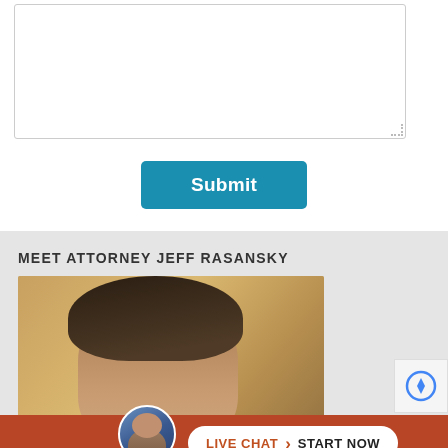[Figure (screenshot): Empty textarea form field with resize handle in bottom right corner]
Submit
MEET ATTORNEY JEFF RASANSKY
[Figure (photo): Photo of attorney Jeff Rasansky, a man with brown hair photographed from above/close up angle, background shows yellow/tan furniture]
[Figure (infographic): Live chat bar at bottom with attorney avatar photo, pill-shaped button reading LIVE CHAT > START NOW on dark red/orange background]